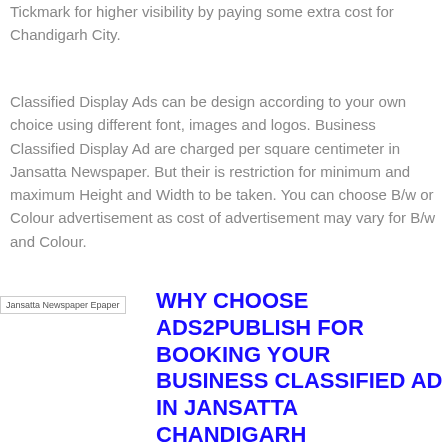Tickmark for higher visibility by paying some extra cost for Chandigarh City.
Classified Display Ads can be design according to your own choice using different font, images and logos. Business Classified Display Ad are charged per square centimeter in Jansatta Newspaper. But their is restriction for minimum and maximum Height and Width to be taken. You can choose B/w or Colour advertisement as cost of advertisement may vary for B/w and Colour.
[Figure (other): Jansatta Newspaper Epaper image placeholder with alt text]
WHY CHOOSE ADS2PUBLISH FOR BOOKING YOUR BUSINESS CLASSIFIED AD IN JANSATTA CHANDIGARH